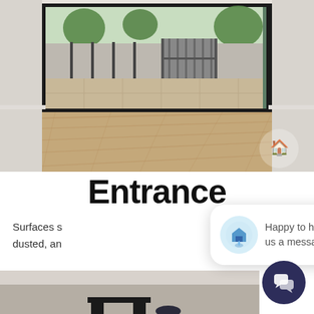[Figure (photo): Interior room photo showing large sliding glass doors opening to an outdoor patio area with garden, fence, and gate visible. Hardwood/timber flooring inside. White walls. A cleaning company logo watermark visible bottom right.]
Entrance
Surfaces s… dusted, an…
[Figure (infographic): Chat popup bubble with cleaning service logo icon on left and text 'Happy to help! Send us a message here.' A dark navy circular chat button with speech bubble icon appears at bottom right.]
[Figure (photo): Partial bottom photo showing a beige/grey interior surface with dark furniture legs visible at bottom.]